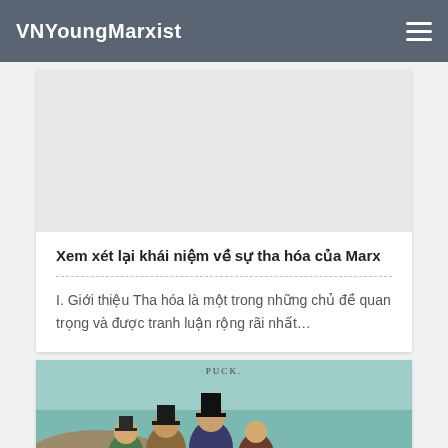VNYoungMarxist
[Figure (illustration): Blank/white image area above article card]
Xem xét lại khái niệm về sự tha hóa của Marx
I. Giới thiệu Tha hóa là một trong những chủ đề quan trọng và được tranh luận rộng rãi nhất…
[Figure (illustration): Historical Puck magazine illustration showing caricatures of men in top hats sitting together, with PUCK label at top, teal/aqua colored background with industrial scene]